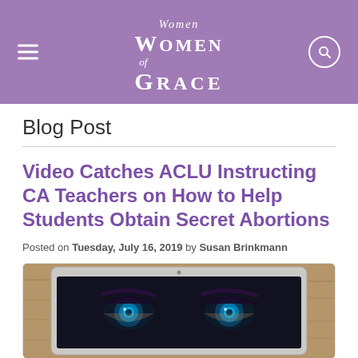[Figure (logo): Women of Grace website header with purple background, hamburger menu on left, Women of Grace logo in center, search icon on right]
Blog Post
Video Catches ACLU Instructing CA Teachers on How to Help Students Obtain Secret Abortions
Posted on Tuesday, July 16, 2019 by Susan Brinkmann
[Figure (photo): Laptop computer on wooden table showing a dark screen with a close-up of glowing blue eyes]